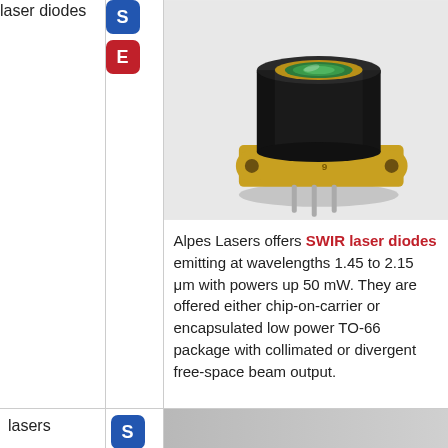laser diodes
[Figure (other): Blue badge with letter S and red badge with letter E]
[Figure (photo): Photo of a SWIR laser diode in a TO-66 package with gold flange, black cylindrical body with green lens window, and metal pins]
Alpes Lasers offers SWIR laser diodes emitting at wavelengths 1.45 to 2.15 μm with powers up 50 mW. They are offered either chip-on-carrier or encapsulated low power TO-66 package with collimated or divergent free-space beam output.
lasers
[Figure (photo): Partial photo visible at bottom right, appears to show another laser product]